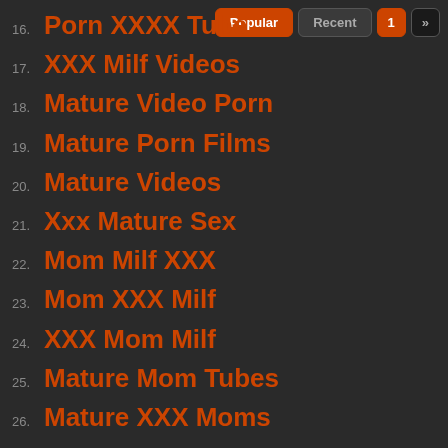16. Porn XXXX Tube
17. XXX Milf Videos
18. Mature Video Porn
19. Mature Porn Films
20. Mature Videos
21. Xxx Mature Sex
22. Mom Milf XXX
23. Mom XXX Milf
24. XXX Mom Milf
25. Mature Mom Tubes
26. Mature XXX Moms